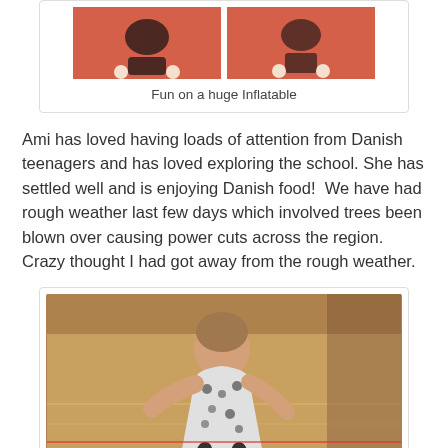[Figure (photo): Two photos of a child playing on a large red/orange inflatable surface]
Fun on a huge Inflatable
Ami has loved having loads of attention from Danish teenagers and has loved exploring the school. She has settled well and is enjoying Danish food!  We have had rough weather last few days which involved trees been blown over causing power cuts across the region. Crazy thought I had got away from the rough weather.
[Figure (photo): A toddler in a leopard-print dress running/playing on a wooden gymnasium floor]